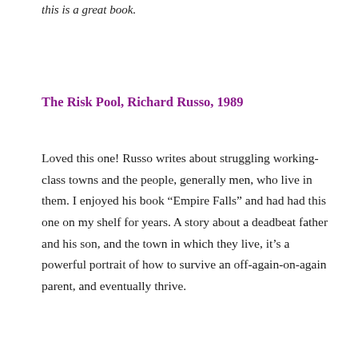this is a great book.
The Risk Pool, Richard Russo, 1989
Loved this one! Russo writes about struggling working-class towns and the people, generally men, who live in them. I enjoyed his book “Empire Falls” and had had this one on my shelf for years. A story about a deadbeat father and his son, and the town in which they live, it’s a powerful portrait of how to survive an off-again-on-again parent, and eventually thrive.